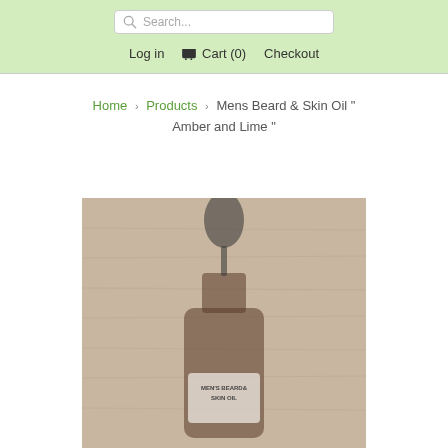Search... | Log in | Cart (0) | Checkout
Home > Products > Mens Beard & Skin Oil " Amber and Lime "
[Figure (photo): A dark amber glass dropper bottle of Men's Beard & Skin Oil on a wooden background, partially faded/light appearance]